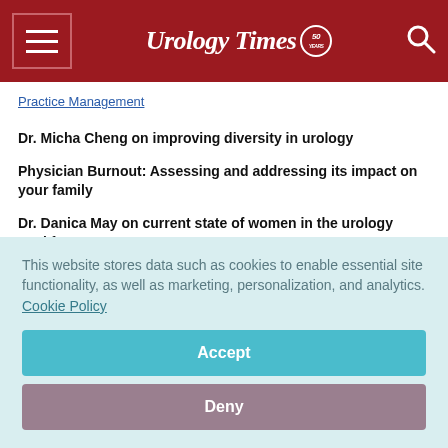Urology Times 50
Practice Management
Dr. Micha Cheng on improving diversity in urology
Physician Burnout: Assessing and addressing its impact on your family
Dr. Danica May on current state of women in the urology workforce
This website stores data such as cookies to enable essential site functionality, as well as marketing, personalization, and analytics. Cookie Policy
Accept
Deny